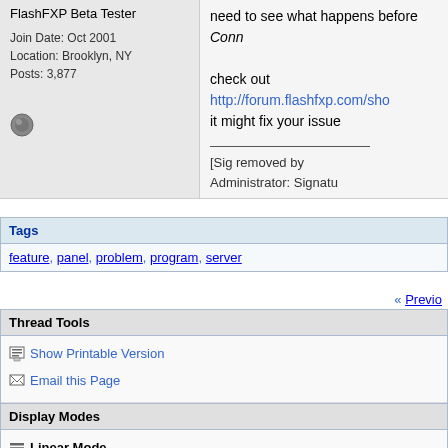FlashFXP Beta Tester
Join Date: Oct 2001
Location: Brooklyn, NY
Posts: 3,877
need to see what happens before Conn
check out http://forum.flashfxp.com/sho it might fix your issue
[Sig removed by Administrator: Signatu
Tags
feature, panel, problem, program, server
« Previo
Thread Tools
Show Printable Version
Email this Page
Display Modes
Linear Mode
Switch to Hybrid Mode
Switch to Threaded Mode